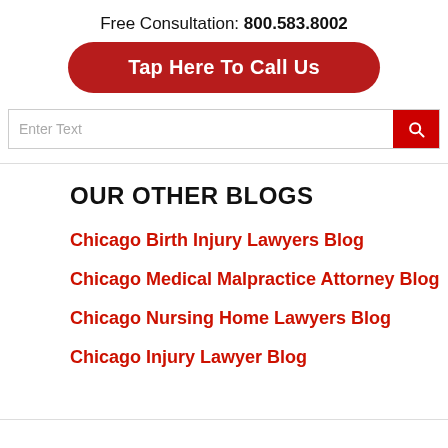Free Consultation: 800.583.8002
Tap Here To Call Us
Enter Text
OUR OTHER BLOGS
Chicago Birth Injury Lawyers Blog
Chicago Medical Malpractice Attorney Blog
Chicago Nursing Home Lawyers Blog
Chicago Injury Lawyer Blog